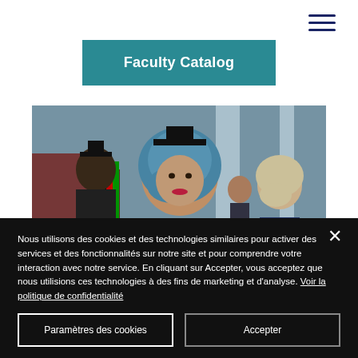[Figure (other): Hamburger/navigation menu icon — three horizontal dark blue lines in top right corner]
Faculty Catalog
[Figure (photo): Graduation ceremony photo showing a smiling woman wearing a blue hijab and graduation cap in the foreground, with other graduates and faculty in the background]
Nous utilisons des cookies et des technologies similaires pour activer des services et des fonctionnalités sur notre site et pour comprendre votre interaction avec notre service. En cliquant sur Accepter, vous acceptez que nous utilisions ces technologies à des fins de marketing et d'analyse. Voir la politique de confidentialité
Paramètres des cookies
Accepter